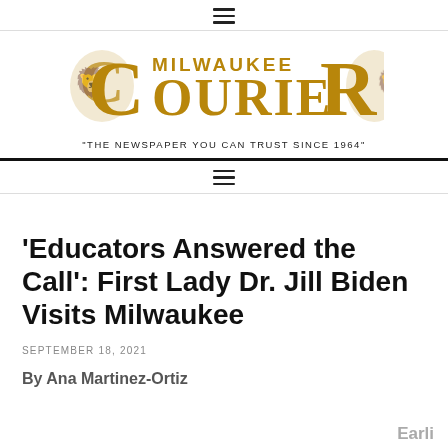≡
[Figure (logo): Milwaukee Courier newspaper logo with decorative golden lettering and crest emblems on either side. Tagline: THE NEWSPAPER YOU CAN TRUST SINCE 1964]
≡
'Educators Answered the Call': First Lady Dr. Jill Biden Visits Milwaukee
SEPTEMBER 18, 2021
By Ana Martinez-Ortiz
Earli